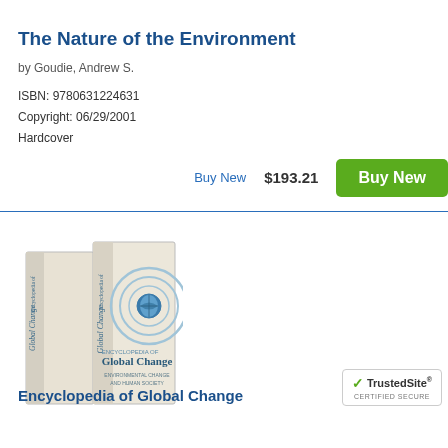The Nature of the Environment
by Goudie, Andrew S.
ISBN: 9780631224631
Copyright: 06/29/2001
Hardcover
Buy New    $193.21
[Figure (illustration): Book cover of Encyclopedia of Global Change: Environmental Change and Human Society, showing two volumes side by side]
Encyclopedia of Global Change